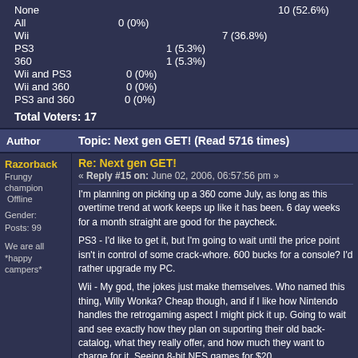| Option | Votes |
| --- | --- |
| None | 10 (52.6%) |
| All | 0 (0%) |
| Wii | 7 (36.8%) |
| PS3 | 1 (5.3%) |
| 360 | 1 (5.3%) |
| Wii and PS3 | 0 (0%) |
| Wii and 360 | 0 (0%) |
| PS3 and 360 | 0 (0%) |
Total Voters: 17
Author    Topic: Next gen GET!  (Read 5716 times)
Razorback
Frungy champion
 Offline
Gender:
Posts: 99
We are all *happy campers*
Re: Next gen GET!
« Reply #15 on: June 02, 2006, 06:57:56 pm »
I'm planning on picking up a 360 come July, as long as this overtime trend at work keeps up like it has been.    6 day weeks for a month straight are good for the paycheck.
PS3 - I'd like to get it, but I'm going to wait until the price point isn't in control of some crack-whore.  600 bucks for a console?  I'd rather upgrade my PC.
Wii - My god, the jokes just make themselves.  Who named this thing, Willy Wonka?  Cheap though, and if I like how Nintendo handles the retrogaming aspect I might pick it up.  Going to wait and see exactly how they plan on suporting their old back-catalog, what they really offer, and how much they want to charge for it.  Seeing 8-bit NES games for $20